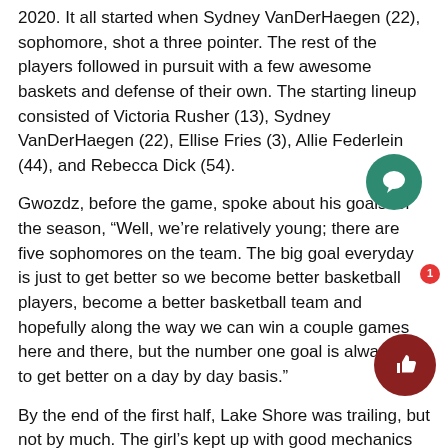2020. It all started when Sydney VanDerHaegen (22), sophomore, shot a three pointer. The rest of the players followed in pursuit with a few awesome baskets and defense of their own. The starting lineup consisted of Victoria Rusher (13), Sydney VanDerHaegen (22), Ellise Fries (3), Allie Federlein (44), and Rebecca Dick (54).
Gwozdz, before the game, spoke about his goals for the season, “Well, we’re relatively young; there are five sophomores on the team. The big goal everyday is just to get better so we become better basketball players, become a better basketball team and hopefully along the way we can win a couple games here and there, but the number one goal is always just to get better on a day by day basis.”
By the end of the first half, Lake Shore was trailing, but not by much. The girl’s kept up with good mechanics throughout the whole game. Katie Budnick (5) and Jena Herbon (0), both sophomores, shined throughout. Both of them had key defensive plays which impacted the game heavily. Senior, Federlein (44), came up with a few good rebounds, helping Lake Shore out a lot.
In the end, the final score was 24-29, L’anse Creuse with the win.